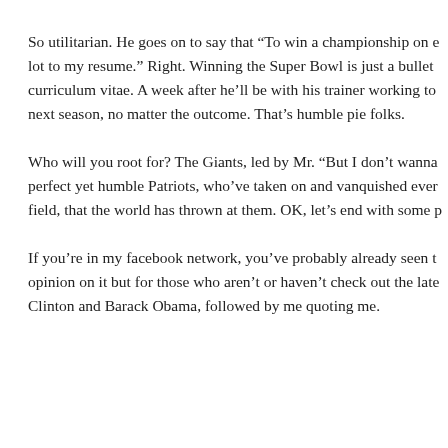So utilitarian. He goes on to say that “To win a championship on e lot to my resume.” Right. Winning the Super Bowl is just a bullet curriculum vitae. A week after he’ll be with his trainer working to next season, no matter the outcome. That’s humble pie folks.
Who will you root for? The Giants, led by Mr. “But I don’t wanna perfect yet humble Patriots, who’ve taken on and vanquished ever field, that the world has thrown at them. OK, let’s end with some p
If you’re in my facebook network, you’ve probably already seen t opinion on it but for those who aren’t or haven’t check out the late Clinton and Barack Obama, followed by me quoting me.